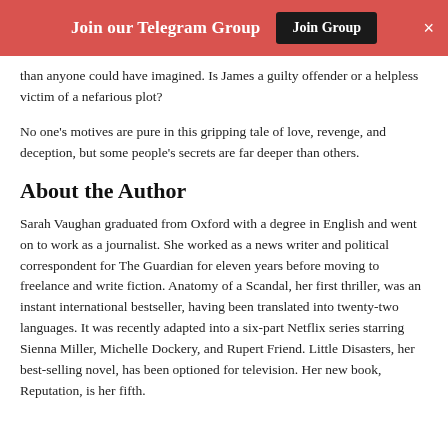Join our Telegram Group  [Join Group]  ×
than anyone could have imagined. Is James a guilty offender or a helpless victim of a nefarious plot?
No one's motives are pure in this gripping tale of love, revenge, and deception, but some people's secrets are far deeper than others.
About the Author
Sarah Vaughan graduated from Oxford with a degree in English and went on to work as a journalist. She worked as a news writer and political correspondent for The Guardian for eleven years before moving to freelance and write fiction. Anatomy of a Scandal, her first thriller, was an instant international bestseller, having been translated into twenty-two languages. It was recently adapted into a six-part Netflix series starring Sienna Miller, Michelle Dockery, and Rupert Friend. Little Disasters, her best-selling novel, has been optioned for television. Her new book, Reputation, is her fifth.